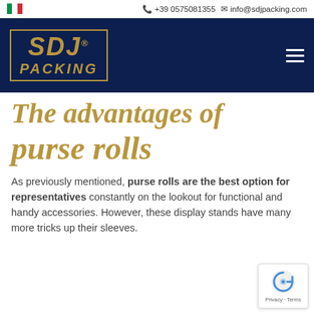+39 0575081355  info@sdjpacking.com
[Figure (logo): SDJ Packing logo in gold on dark navy background with hamburger menu icon]
The advantages of purse rolls
As previously mentioned, purse rolls are the best option for representatives constantly on the lookout for functional and handy accessories. However, these display stands have many more tricks up their sleeves.